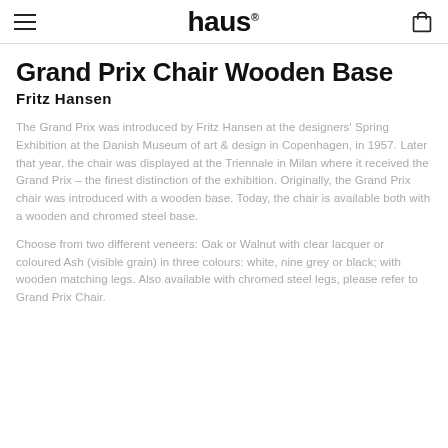haus
Grand Prix Chair Wooden Base
Fritz Hansen
The Grand Prix was introduced by Fritz Hansen at the designers' Spring Exhibition at the Danish Museum of art & design in Copenhagen, in 1957. Later that year, the chair was displayed at the Triennale in Milan where it received the Grand Prix – the finest distinction of the exhibition. Originally, the Grand Prix chair was introduced with a wooden base. Today, the chair is available both with a wooden and chromed steel base.
Choose from two different veneers: Oak or Walnut with clear lacquer or coloured Ash (visible grain) in three colours: white, nine grey or black; with wooden matching legs. Also available with chromed steel legs, please refer to Grand Prix Chair.